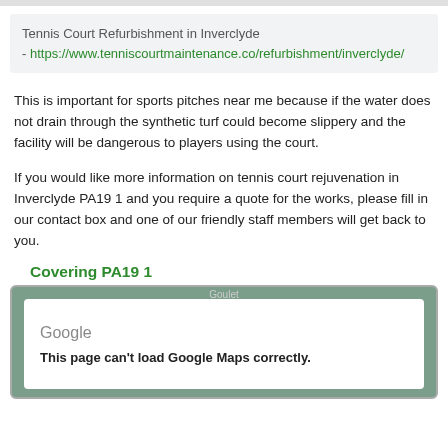Tennis Court Refurbishment in Inverclyde - https://www.tenniscourtmaintenance.co/refurbishment/inverclyde/
This is important for sports pitches near me because if the water does not drain through the synthetic turf could become slippery and the facility will be dangerous to players using the court.
If you would like more information on tennis court rejuvenation in Inverclyde PA19 1 and you require a quote for the works, please fill in our contact box and one of our friendly staff members will get back to you.
Covering PA19 1
[Figure (screenshot): Google Maps embed showing error message: 'This page can't load Google Maps correctly.' with Google logo visible on a white overlay over a map background.]